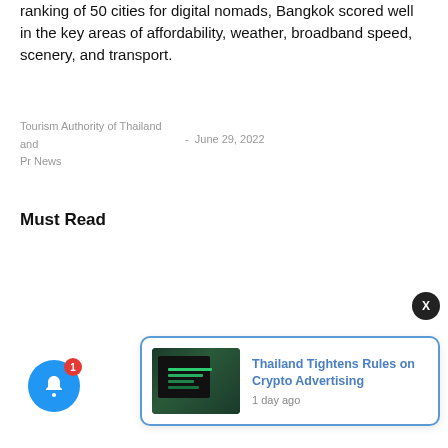ranking of 50 cities for digital nomads, Bangkok scored well in the key areas of affordability, weather, broadband speed, scenery, and transport.
Tourism Authority of Thailand and Pr News  -  June 29, 2022
Must Read
[Figure (screenshot): Notification popup card with thumbnail image of crypto trading screens and text 'Thailand Tightens Rules on Crypto Advertising' with '1 day ago' timestamp]
[Figure (illustration): Blue circular bell notification button with red badge showing '1' and an X close button in dark circle]